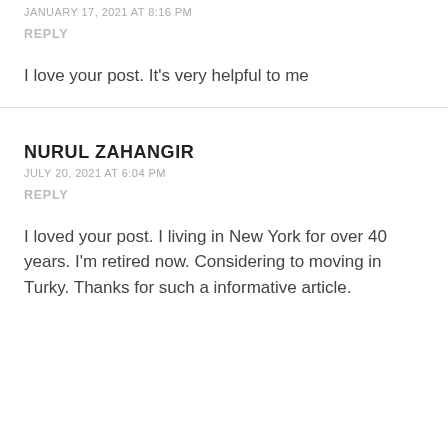JANUARY 17, 2021 AT 8:16 PM
REPLY
I love your post. It’s very helpful to me
NURUL ZAHANGIR
JULY 20, 2021 AT 6:04 PM
REPLY
I loved your post. I living in New York for over 40 years. I’m retired now. Considering to moving in Turky. Thanks for such a informative article.